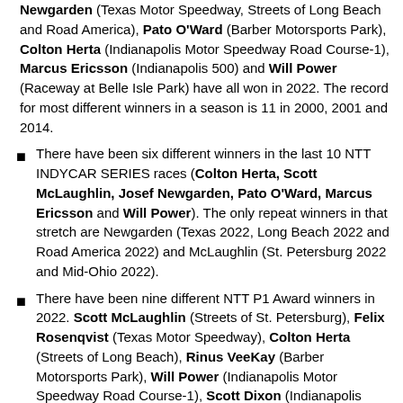Newgarden (Texas Motor Speedway, Streets of Long Beach and Road America), Pato O'Ward (Barber Motorsports Park), Colton Herta (Indianapolis Motor Speedway Road Course-1), Marcus Ericsson (Indianapolis 500) and Will Power (Raceway at Belle Isle Park) have all won in 2022. The record for most different winners in a season is 11 in 2000, 2001 and 2014.
There have been six different winners in the last 10 NTT INDYCAR SERIES races (Colton Herta, Scott McLaughlin, Josef Newgarden, Pato O'Ward, Marcus Ericsson and Will Power). The only repeat winners in that stretch are Newgarden (Texas 2022, Long Beach 2022 and Road America 2022) and McLaughlin (St. Petersburg 2022 and Mid-Ohio 2022).
There have been nine different NTT P1 Award winners in 2022. Scott McLaughlin (Streets of St. Petersburg), Felix Rosenqvist (Texas Motor Speedway), Colton Herta (Streets of Long Beach), Rinus VeeKay (Barber Motorsports Park), Will Power (Indianapolis Motor Speedway Road Course-1), Scott Dixon (Indianapolis 500), Josef Newgarden (Raceway at Belle Isle Park), Alexander Rossi (Road America) and Pato O'Ward (Mid-Ohio Sports Car Course) have won pole positions i